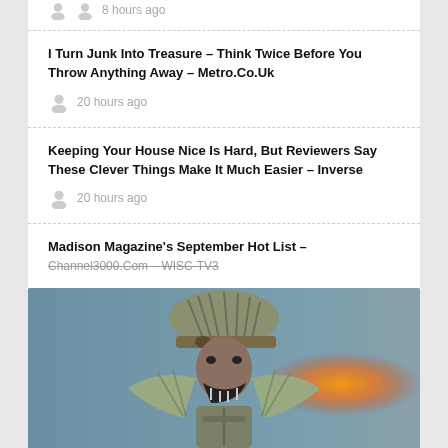8 hours ago
I Turn Junk Into Treasure – Think Twice Before You Throw Anything Away – Metro.Co.Uk
20 hours ago
Keeping Your House Nice Is Hard, But Reviewers Say These Clever Things Make It Much Easier – Inverse
20 hours ago
Madison Magazine's September Hot List – Channel3000.Com – WISC-TV3
[Figure (photo): Close-up photo of a painted miniature figure wearing an ornate feathered helmet and armor, with a blurred orange light in the background]